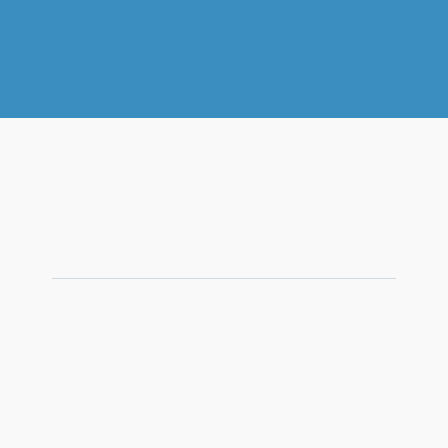[Figure (other): Blue header bar at the top of the page]
aether-app-configs
•